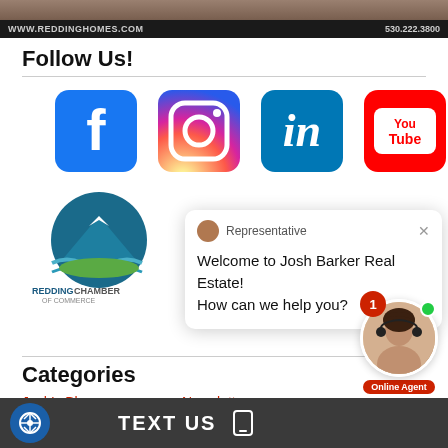[Figure (screenshot): Top banner with website URL www.reddinghomes.com and phone 530.222.3800 on dark background, with photo strip above]
Follow Us!
[Figure (logo): Facebook logo icon - blue rounded square with white F]
[Figure (logo): Instagram logo icon - gradient rounded square with camera outline]
[Figure (logo): LinkedIn logo icon - blue rounded square with white in]
[Figure (logo): YouTube logo icon - red rounded rectangle with You Tube text]
[Figure (logo): Redding Chamber of Commerce logo with mountain and water graphic]
[Figure (screenshot): Chat popup with Representative avatar, message: Welcome to Josh Barker Real Estate! How can we help you?]
Categories
Josh's Blog
Newsletters
Podcasts
[Figure (photo): Online Agent widget showing female agent photo with green online dot, red badge with number 1, and Online Agent label]
TEXT US